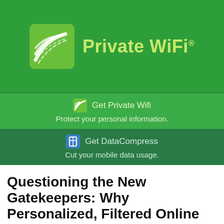[Figure (logo): Private WiFi logo with green wifi wave icon and brand name in yellow-green text on dark green background]
Get Private Wifi
Protect your personal information.
Get DataCompress
Cut your mobile data usage.
Questioning the New Gatekeepers: Why Personalized, Filtered Online News Is Worrisome
BY KENT LAWSON · JUNE 13, 2011